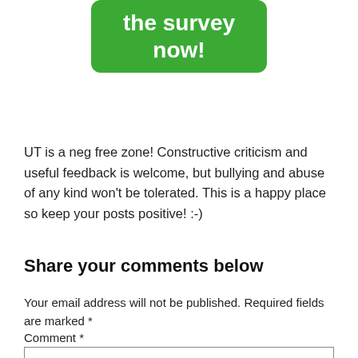[Figure (other): Green rounded rectangle button with white bold text reading 'the survey now!']
UT is a neg free zone! Constructive criticism and useful feedback is welcome, but bullying and abuse of any kind won't be tolerated. This is a happy place so keep your posts positive! :-)
Share your comments below
Your email address will not be published. Required fields are marked *
Comment *